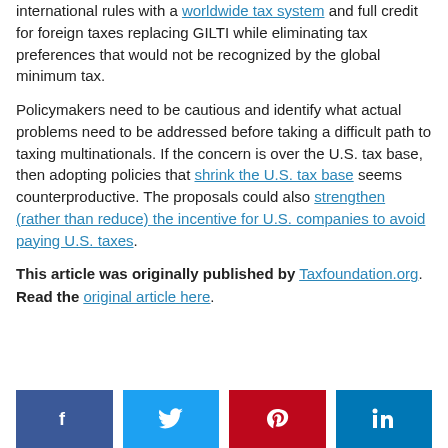international rules with a worldwide tax system and full credit for foreign taxes replacing GILTI while eliminating tax preferences that would not be recognized by the global minimum tax.
Policymakers need to be cautious and identify what actual problems need to be addressed before taking a difficult path to taxing multinationals. If the concern is over the U.S. tax base, then adopting policies that shrink the U.S. tax base seems counterproductive. The proposals could also strengthen (rather than reduce) the incentive for U.S. companies to avoid paying U.S. taxes.
This article was originally published by Taxfoundation.org. Read the original article here.
[Figure (other): Social sharing buttons: Facebook, Twitter, Pinterest, LinkedIn]